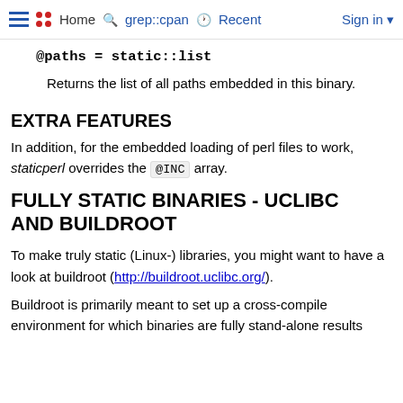≡  Home  🔍 grep::cpan  🕐 Recent  Sign in ▼
@paths = static::list
Returns the list of all paths embedded in this binary.
EXTRA FEATURES
In addition, for the embedded loading of perl files to work, staticperl overrides the @INC array.
FULLY STATIC BINARIES - UCLIBC AND BUILDROOT
To make truly static (Linux-) libraries, you might want to have a look at buildroot (http://buildroot.uclibc.org/).
Buildroot is primarily meant to set up a cross-compile environment for which binaries are fully stand-alone results